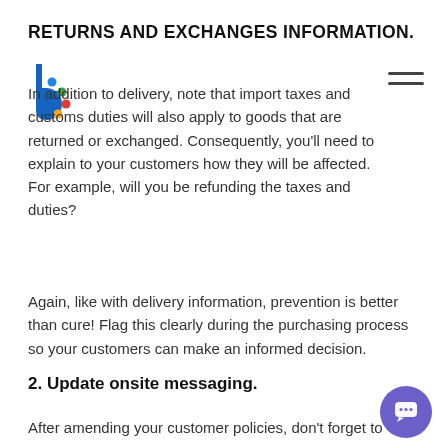RETURNS AND EXCHANGES INFORMATION.
[Figure (logo): Colourful stylized 'b' logo (blue body with coloured dots) in the top-left]
[Figure (other): Hamburger menu icon (two horizontal lines) in the top-right]
In addition to delivery, note that import taxes and customs duties will also apply to goods that are returned or exchanged. Consequently, you'll need to explain to your customers how they will be affected. For example, will you be refunding the taxes and duties?
Again, like with delivery information, prevention is better than cure! Flag this clearly during the purchasing process so your customers can make an informed decision.
2. Update onsite messaging.
After amending your customer policies, don't forget to
[Figure (other): Purple circular chat/support button in the bottom-right corner]